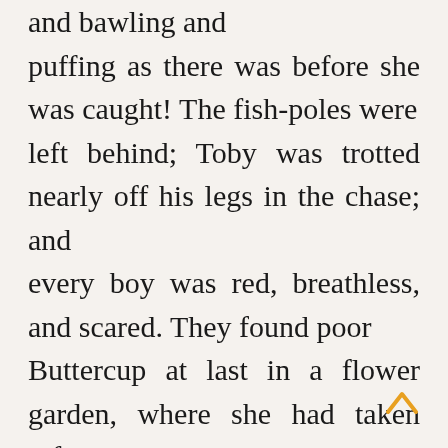and bawling and puffing as there was before she was caught! The fish-poles were left behind; Toby was trotted nearly off his legs in the chase; and every boy was red, breathless, and scared. They found poor Buttercup at last in a flower garden, where she had taken refuge, worn out with the long run. Borrowing a rope for a halter, Dan led her home, followed by a party of very sober young gentlemen, for